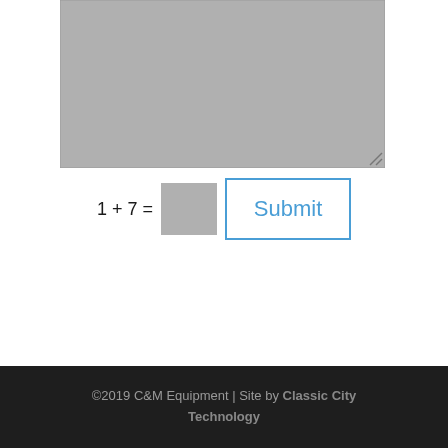Description of Problems:  (required)
[Figure (screenshot): A grey textarea input box with a resize handle in the bottom-right corner]
Submit
©2019 C&M Equipment | Site by Classic City Technology